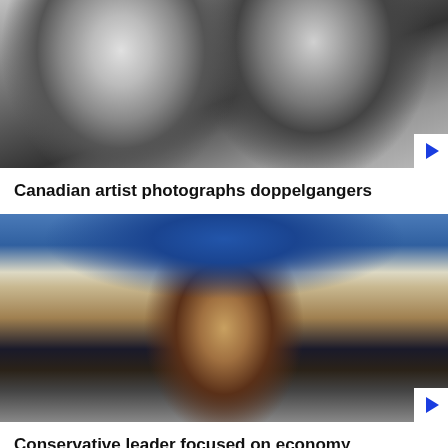[Figure (photo): Black and white close-up photograph of two men side by side, resembling doppelgangers]
Canadian artist photographs doppelgangers
[Figure (photo): Color photograph of a man in a suit with glasses speaking at a microphone in front of a sign reading CONSERVATEUR, with a crowd in the background]
Conservative leader focused on economy